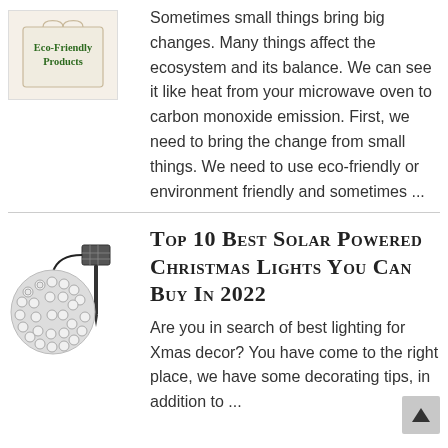[Figure (illustration): Eco-Friendly Products bag label with bold green text on beige background]
Sometimes small things bring big changes. Many things affect the ecosystem and its balance. We can see it like heat from your microwave oven to carbon monoxide emission. First, we need to bring the change from small things. We need to use eco-friendly or environment friendly and sometimes ...
[Figure (photo): Solar powered Christmas string lights bundled together with a solar panel stake]
Top 10 Best Solar Powered Christmas Lights You can Buy in 2022
Are you in search of best lighting for Xmas decor? You have come to the right place, we have some decorating tips, in addition to ...